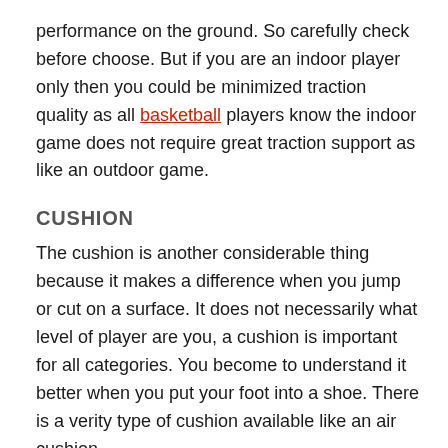performance on the ground. So carefully check before choose. But if you are an indoor player only then you could be minimized traction quality as all basketball players know the indoor game does not require great traction support as like an outdoor game.
CUSHION
The cushion is another considerable thing because it makes a difference when you jump or cut on a surface. It does not necessarily what level of player are you, a cushion is important for all categories. You become to understand it better when you put your foot into a shoe. There is a verity type of cushion available like an air cushion,